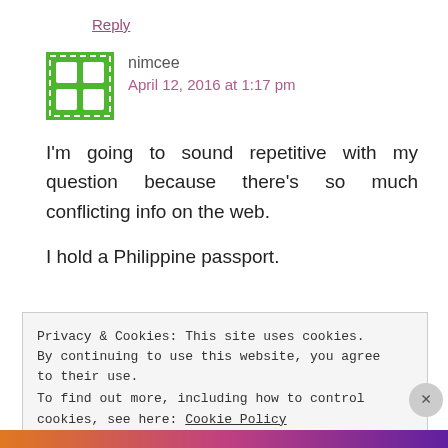Reply
nimcee
April 12, 2016 at 1:17 pm
I'm going to sound repetitive with my question because there's so much conflicting info on the web.
I hold a Philippine passport.
Privacy & Cookies: This site uses cookies. By continuing to use this website, you agree to their use.
To find out more, including how to control cookies, see here: Cookie Policy
Close and accept